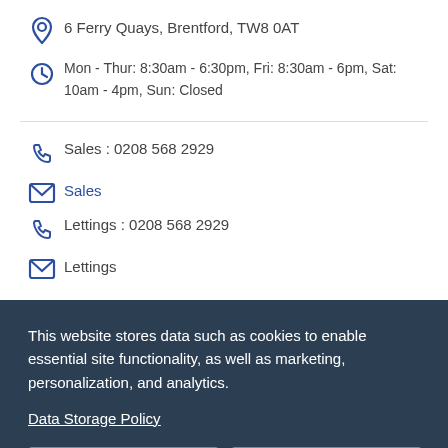6 Ferry Quays, Brentford, TW8 0AT
Mon - Thur: 8:30am - 6:30pm, Fri: 8:30am - 6pm, Sat: 10am - 4pm, Sun: Closed
Sales : 0208 568 2929
Sales
Lettings : 0208 568 2929
Lettings
[Figure (screenshot): Cookie consent overlay with Accept and Deny buttons]
This website stores data such as cookies to enable essential site functionality, as well as marketing, personalization, and analytics.
Data Storage Policy
Accept
Deny